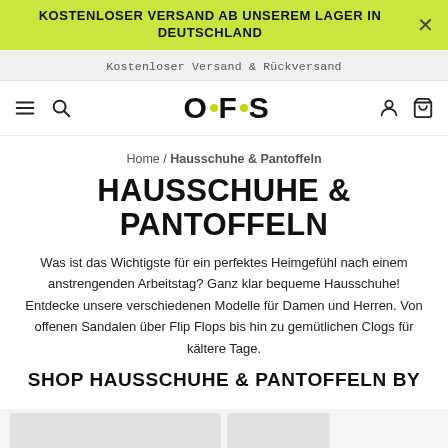KOSTENLOSER VERSAND AB UNSEREM LAGER IN DEUTSCHLAND
Kostenloser Versand & Rückversand
[Figure (logo): OOFOS brand logo with green dot between the two O's]
Home / Hausschuhe & Pantoffeln
HAUSSCHUHE & PANTOFFELN
Was ist das Wichtigste für ein perfektes Heimgefühl nach einem anstrengenden Arbeitstag? Ganz klar bequeme Hausschuhe! Entdecke unsere verschiedenen Modelle für Damen und Herren. Von offenen Sandalen über Flip Flops bis hin zu gemütlichen Clogs für kältere Tage.
SHOP HAUSSCHUHE & PANTOFFELN BY